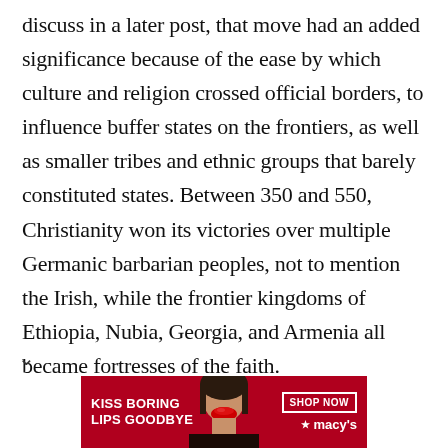discuss in a later post, that move had an added significance because of the ease by which culture and religion crossed official borders, to influence buffer states on the frontiers, as well as smaller tribes and ethnic groups that barely constituted states. Between 350 and 550, Christianity won its victories over multiple Germanic barbarian peoples, not to mention the Irish, while the frontier kingdoms of Ethiopia, Nubia, Georgia, and Armenia all became fortresses of the faith.
[Figure (photo): Macy's advertisement banner showing a woman's face with red lips, text 'KISS BORING LIPS GOODBYE' on the left, 'SHOP NOW' button and Macy's star logo on the right, red background.]